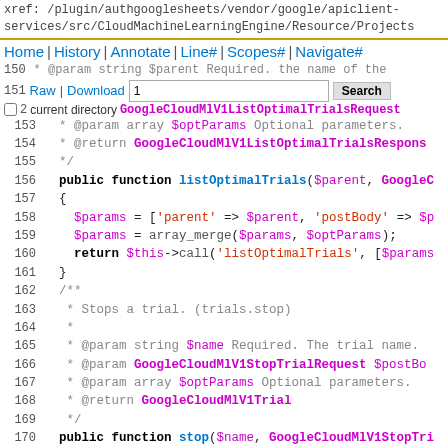xref: /plugin/authgooglesheets/vendor/google/apiclient-services/src/CloudMachineLearningEngine/Resource/Projects
Home | History | Annotate | Line# | Scopes# | Navigate#
Raw | Download | Search | 2 current directory
[Figure (screenshot): PHP source code viewer showing lines 150-175 of a CloudMachineLearningEngine Projects resource file, with syntax highlighting. Shows listOptimalTrials and stop public functions with their docblocks.]